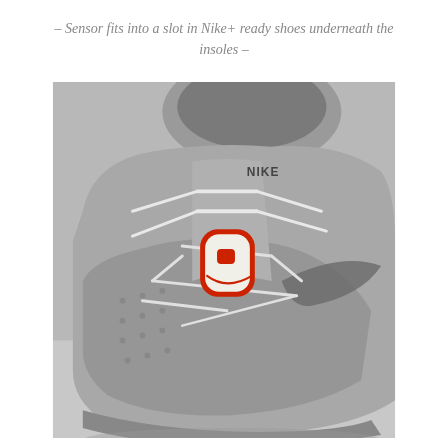– Sensor fits into a slot in Nike+ ready shoes underneath the insoles –
[Figure (photo): Close-up photograph of a gray Nike shoe with a red and white Nike+ sensor clipped onto the laces near the toe box. The shoe is gray with white laces and a dark swoosh logo visible on the side. The sensor is oval/rounded rectangular in shape with a red border and white face showing a small red sensor element.]